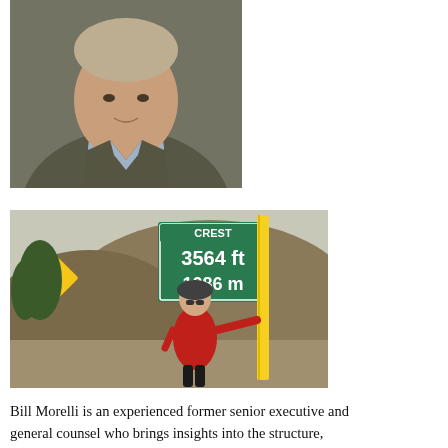[Figure (photo): Portrait photo of Bill Morelli, a man in a grey-green sport coat and light blue shirt, cropped at the chest.]
[Figure (photo): Outdoor photo of a man in a red cycling jacket and helmet standing next to a road sign reading 'CREST 3564 ft 1086 m' with a measuring tape extended vertically next to the sign. A yellow warning road sign and hillside vegetation are visible in the background.]
Bill Morelli is an experienced former senior executive and general counsel who brings insights into the structure, management, and culture of providing legal counsel to  private,